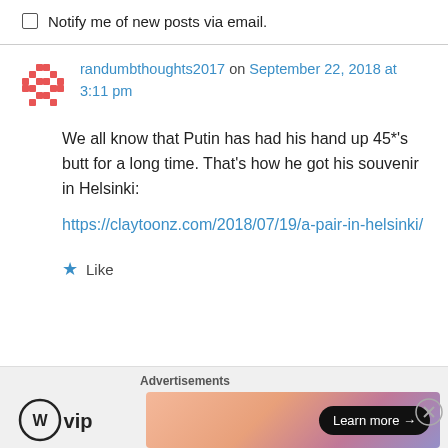Notify me of new posts via email.
randumbthoughts2017 on September 22, 2018 at 3:11 pm
We all know that Putin has had his hand up 45*'s butt for a long time. That's how he got his souvenir in Helsinki:
https://claytoonz.com/2018/07/19/a-pair-in-helsinki/
Like
Advertisements
[Figure (logo): WordPress VIP logo with WP icon and 'vip' text]